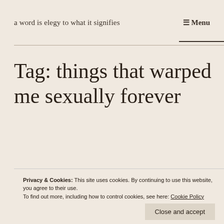a word is elegy to what it signifies
≡ Menu
Tag: things that warped me sexually forever
Privacy & Cookies: This site uses cookies. By continuing to use this website, you agree to their use.
To find out more, including how to control cookies, see here: Cookie Policy
Close and accept
System for Drafting: And